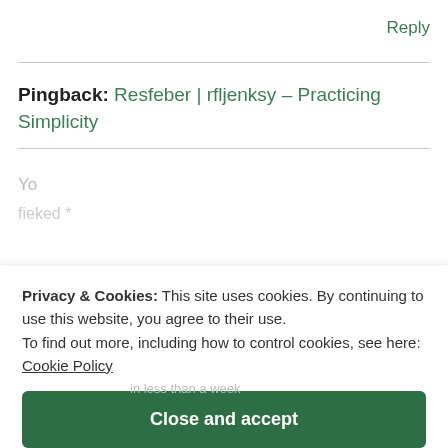Reply
Pingback: Resfeber | rfljenksy – Practicing Simplicity
Privacy & Cookies: This site uses cookies. By continuing to use this website, you agree to their use.
To find out more, including how to control cookies, see here:
Cookie Policy
Close and accept